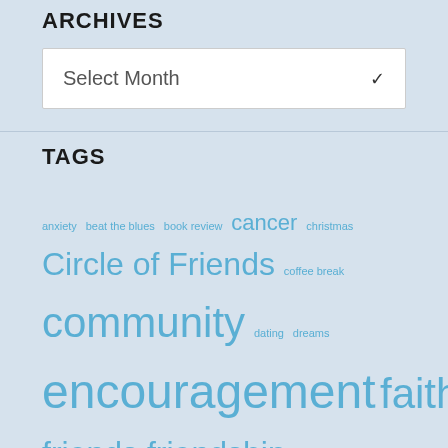ARCHIVES
Select Month
TAGS
anxiety beat the blues book review cancer christmas Circle of Friends coffee break community dating dreams encouragement faith family friends friendship funny garden gardening giveaway kids kissing letters love love letters love story marriage million dollar moment motherhood moving